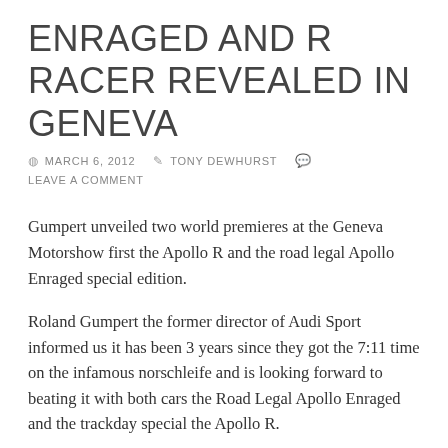ENRAGED AND R RACER REVEALED IN GENEVA
© MARCH 6, 2012   ✎ TONY DEWHURST   💬 LEAVE A COMMENT
Gumpert unveiled two world premieres at the Geneva Motorshow first the Apollo R and the road legal Apollo Enraged special edition.
Roland Gumpert the former director of Audi Sport informed us it has been 3 years since they got the 7:11 time on the infamous norschleife and is looking forward to beating it with both cars the Road Legal Apollo Enraged and the trackday special the Apollo R.
The Gumpert Apollo R uses the Audi sourced V8 used in both